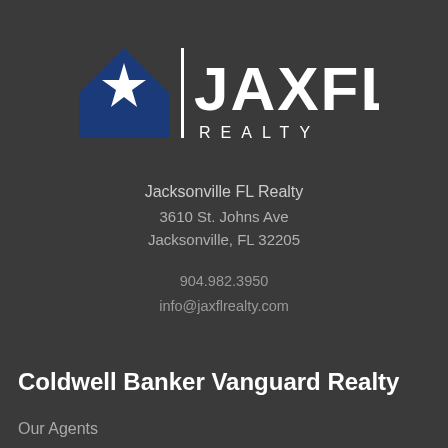[Figure (logo): JAXFL Realty logo: dark blue house shape with white star on left, vertical bar divider, text JAXFL in large white letters, REALTY in spaced white letters below]
Jacksonville FL Realty
3610 St. Johns Ave
Jacksonville, FL 32205
904.982.3950
info@jaxflrealty.com
Coldwell Banker Vanguard Realty
Our Agents